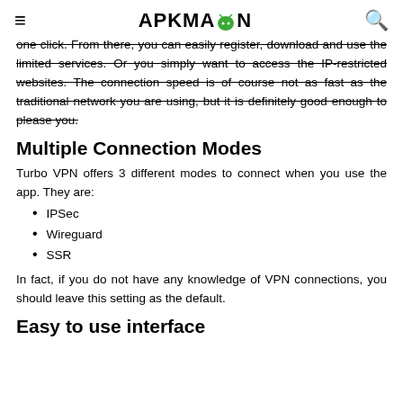APKMAZON
one click. From there, you can easily register, download and use the limited services. Or you simply want to access the IP-restricted websites. The connection speed is of course not as fast as the traditional network you are using, but it is definitely good enough to please you.
Multiple Connection Modes
Turbo VPN offers 3 different modes to connect when you use the app. They are:
IPSec
Wireguard
SSR
In fact, if you do not have any knowledge of VPN connections, you should leave this setting as the default.
Easy to use interface